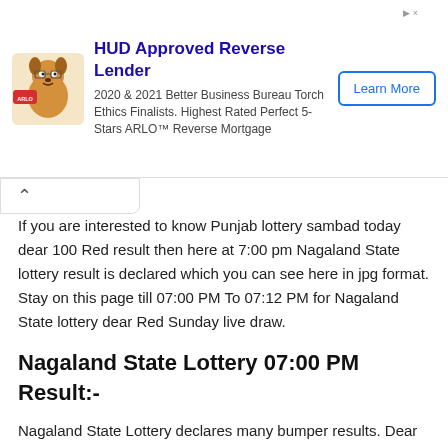[Figure (infographic): Advertisement banner: ARLO mascot dog icon on left, headline 'HUD Approved Reverse Lender', body text '2020 & 2021 Better Business Bureau Torch Ethics Finalists. Highest Rated Perfect 5-Stars ARLO™ Reverse Mortgage', and a 'Learn More' button on the right.]
If you are interested to know Punjab lottery sambad today dear 100 Red result then here at 7:00 pm Nagaland State lottery result is declared which you can see here in jpg format. Stay on this page till 07:00 PM To 07:12 PM for Nagaland State lottery dear Red Sunday live draw.
Nagaland State Lottery 07:00 PM Result:-
Nagaland State Lottery declares many bumper results. Dear 100 Sunday Weekly Lottery Result 2022 is Nagaland State Lottery at 07:00 PM whose result gets